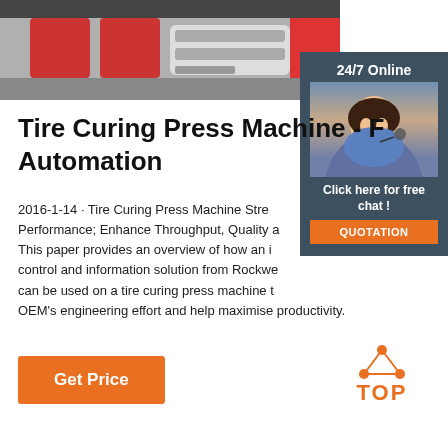[Figure (photo): Close-up photo of red and white industrial machine components, likely tire curing press machine parts]
[Figure (photo): 24/7 Online chat widget showing a female customer service representative with headset, dark background with 'Click here for free chat!' text and orange QUOTATION button]
Tire Curing Press Machine - F Automation
2016-1-14 · Tire Curing Press Machine Stre Performance; Enhance Throughput, Quality a This paper provides an overview of how an i control and information solution from Rockwe can be used on a tire curing press machine t OEM's engineering effort and help maximise productivity.
[Figure (logo): TOP logo with orange dot triangle above the word TOP in orange]
Get Price